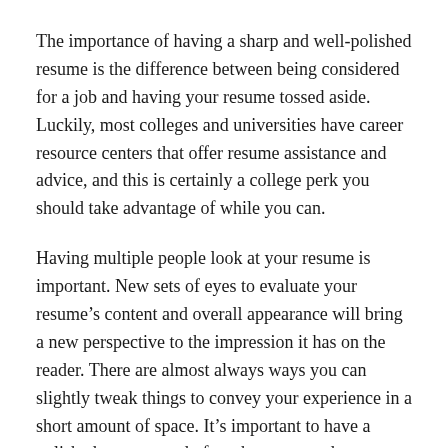The importance of having a sharp and well-polished resume is the difference between being considered for a job and having your resume tossed aside. Luckily, most colleges and universities have career resource centers that offer resume assistance and advice, and this is certainly a college perk you should take advantage of while you can.
Having multiple people look at your resume is important. New sets of eyes to evaluate your resume’s content and overall appearance will bring a new perspective to the impression it has on the reader. There are almost always ways you can slightly tweak things to convey your experience in a short amount of space. It’s important to have a polished resume ready for when you graduate.
5. Practice interviewing